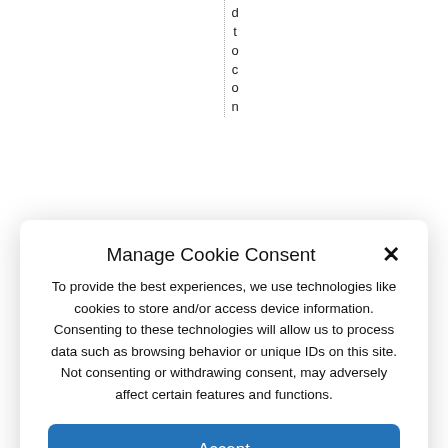d t o c o n
Manage Cookie Consent
To provide the best experiences, we use technologies like cookies to store and/or access device information. Consenting to these technologies will allow us to process data such as browsing behavior or unique IDs on this site. Not consenting or withdrawing consent, may adversely affect certain features and functions.
Accept
Deny
View preferences